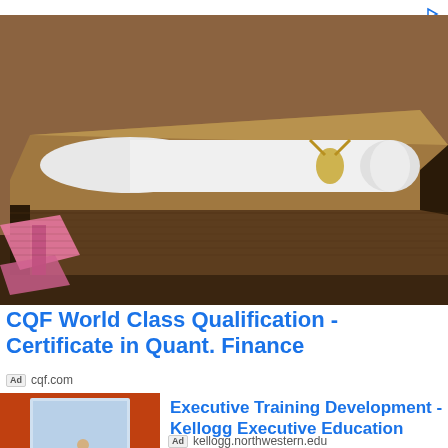[Figure (photo): Stack of old dark brown books with a rolled white diploma/scroll tied with gold ribbon on top, and a pink ribbon-tied document visible at lower left, on a wooden surface with warm brown background.]
CQF World Class Qualification - Certificate in Quant. Finance
Ad cqf.com
[Figure (photo): Speaker/instructor presenting at the front of an auditorium or lecture hall with a projection screen behind, audience seated in rows listening.]
Executive Training Development - Kellogg Executive Education
Ad kellogg.northwestern.edu